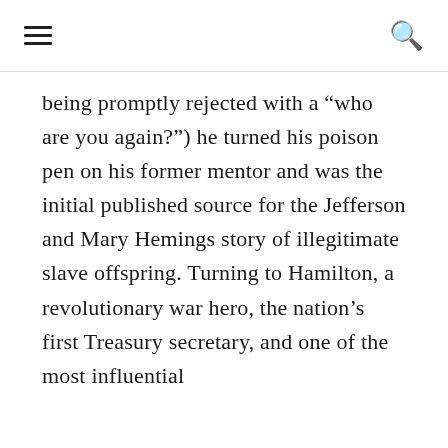[hamburger menu] [search icon]
being promptly rejected with a “who are you again?”) he turned his poison pen on his former mentor and was the initial published source for the Jefferson and Mary Hemings story of illegitimate slave offspring. Turning to Hamilton, a revolutionary war hero, the nation’s first Treasury secretary, and one of the most influential [authors of the Federalist Papers…]